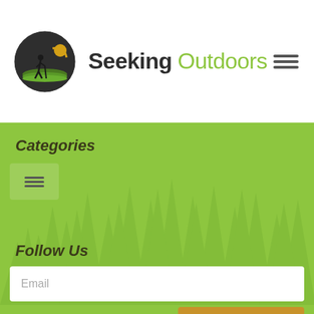[Figure (logo): Seeking Outdoors logo with circular emblem showing hiker silhouette with sun and landscape, next to brand name 'Seeking Outdoors' and hamburger menu icon]
Categories
[Figure (infographic): Hamburger/menu icon button on green background with tree silhouette backdrop]
Follow Us
Email
Subscribe
[Figure (infographic): Social media icons row: Facebook (blue), Twitter (light blue), YouTube (red), Pinterest (dark red), and partially visible payment/other icons below]